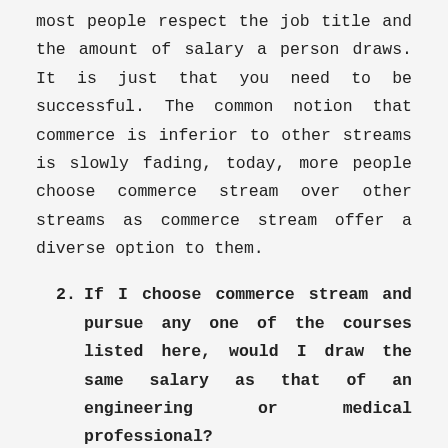most people respect the job title and the amount of salary a person draws. It is just that you need to be successful. The common notion that commerce is inferior to other streams is slowly fading, today, more people choose commerce stream over other streams as commerce stream offer a diverse option to them.
2. If I choose commerce stream and pursue any one of the courses listed here, would I draw the same salary as that of an engineering or medical professional?
Yes and no, there was a time when the pay scale was different for different types of jobs. Engineers